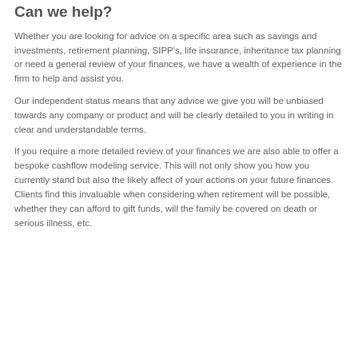Can we help?
Whether you are looking for advice on a specific area such as savings and investments, retirement planning, SIPP's, life insurance, inheritance tax planning or need a general review of your finances, we have a wealth of experience in the firm to help and assist you.
Our independent status means that any advice we give you will be unbiased towards any company or product and will be clearly detailed to you in writing in clear and understandable terms.
If you require a more detailed review of your finances we are also able to offer a bespoke cashflow modeling service. This will not only show you how you currently stand but also the likely affect of your actions on your future finances. Clients find this invaluable when considering when retirement will be possible, whether they can afford to gift funds, will the family be covered on death or serious illness, etc.